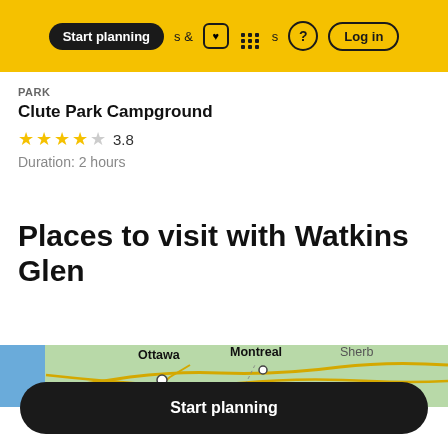Start planning  &  Activities  ?  Log in
PARK
Clute Park Campground
★★★★☆  3.8
Duration: 2 hours
Places to visit with Watkins Glen
[Figure (map): Partial map showing Ottawa, Montreal, and Sherbrooke regions]
Start planning